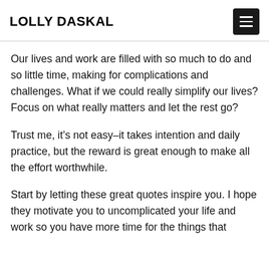LOLLY DASKAL
Our lives and work are filled with so much to do and so little time, making for complications and challenges. What if we could really simplify our lives? Focus on what really matters and let the rest go?
Trust me, it’s not easy–it takes intention and daily practice, but the reward is great enough to make all the effort worthwhile.
Start by letting these great quotes inspire you. I hope they motivate you to uncomplicated your life and work so you have more time for the things that